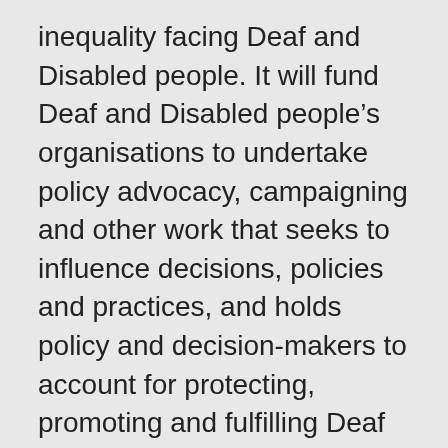inequality facing Deaf and Disabled people. It will fund Deaf and Disabled people's organisations to undertake policy advocacy, campaigning and other work that seeks to influence decisions, policies and practices, and holds policy and decision-makers to account for protecting, promoting and fulfilling Deaf and Disabled people's rights. Grants will be for up to three years, and mostly for £50,000 per year (averaging £150,000 over three years). We can consider larger grants for partnerships of two or more DDPOs. We will only accept one application per DDPO. However, DDPOs already receiving funds from either Trust for London or City Bridge Trust (including through Phase 1 of this initiative) are eligible to apply.